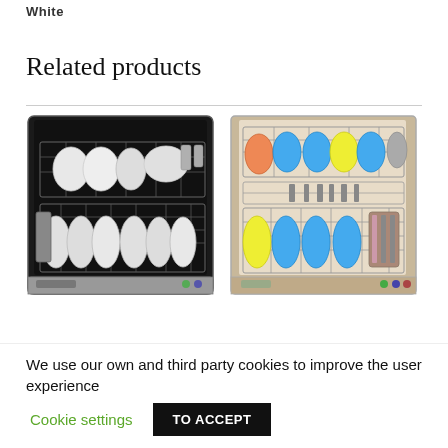White
Related products
[Figure (photo): Two dishwashers with open doors showing loaded dish racks — left unit has dark interior with white dishes, right unit has colorful blue and yellow dishes]
We use our own and third party cookies to improve the user experience  Cookie settings  TO ACCEPT